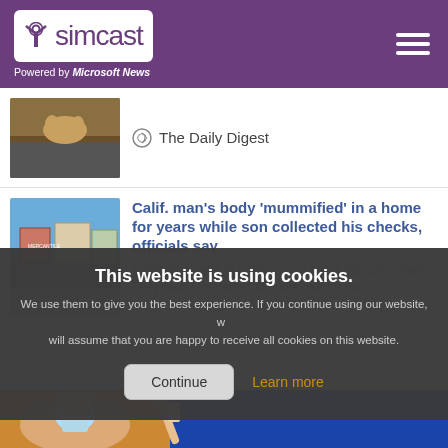simcast — Powered by Microsoft News
[Figure (photo): Dog photo thumbnail with partial news item showing 'The Daily Digest' label]
Calif. man's body 'mummified' in a home for years while son collected his checks, officials say
Authorities went to notify a man about his son's death. They found the father at home, but he had
This website is using cookies. We use them to give you the best experience. If you continue using our website, we will assume that you are happy to receive all cookies on this website.
[Figure (photo): Person wearing a face mask at a protest, raising three fingers, with blue sky behind]